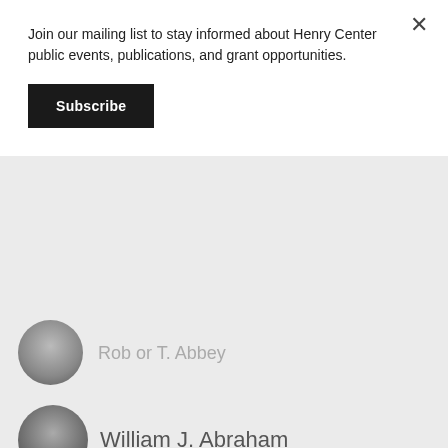Join our mailing list to stay informed about Henry Center public events, publications, and grant opportunities.
Subscribe
[Figure (photo): Circular avatar photo of a person, partially visible, top person in a list]
Rob or T. Abbey
[Figure (photo): Circular avatar photo of William J. Abraham]
William J. Abraham
VIEW ALL
Popular on Sapie